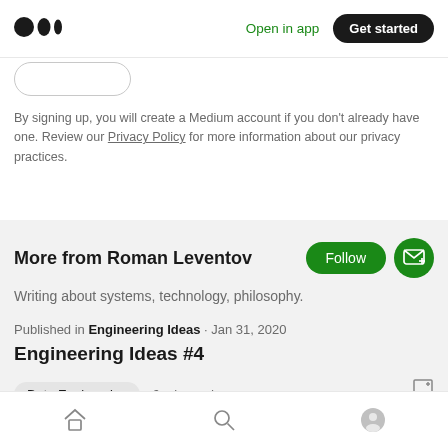Open in app  Get started
[Figure (logo): Medium logo — three stacked dots/circles]
By signing up, you will create a Medium account if you don't already have one. Review our Privacy Policy for more information about our privacy practices.
More from Roman Leventov
Writing about systems, technology, philosophy.
Published in Engineering Ideas · Jan 31, 2020
Engineering Ideas #4
Data Engineering  6 min read
Home  Search  Profile